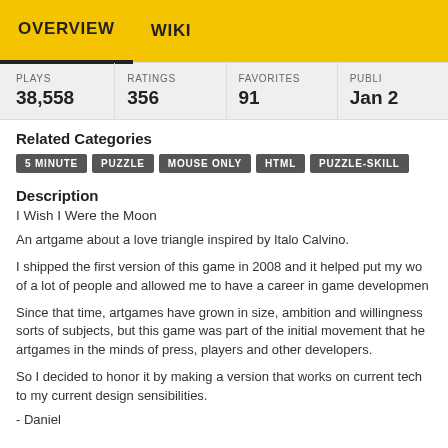OVERVIEW   WIKI
| PLAYS | RATINGS | FAVORITES | PUBLI... |
| --- | --- | --- | --- |
| 38,558 | 356 | 91 | Jan ... |
Related Categories
5 MINUTE
PUZZLE
MOUSE ONLY
HTML
PUZZLE-SKILL
Description
I Wish I Were the Moon
An artgame about a love triangle inspired by Italo Calvino.
I shipped the first version of this game in 2008 and it helped put my wor... of a lot of people and allowed me to have a career in game developmen...
Since that time, artgames have grown in size, ambition and willingness... sorts of subjects, but this game was part of the initial movement that he... artgames in the minds of press, players and other developers.
So I decided to honor it by making a version that works on current tech... to my current design sensibilities.
- Daniel